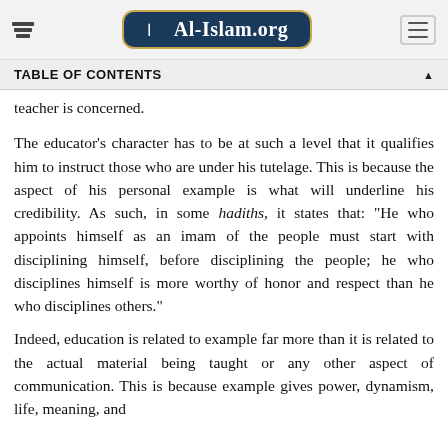Al-Islam.org
TABLE OF CONTENTS
teacher is concerned.
The educator's character has to be at such a level that it qualifies him to instruct those who are under his tutelage. This is because the aspect of his personal example is what will underline his credibility. As such, in some hadiths, it states that: "He who appoints himself as an imam of the people must start with disciplining himself, before disciplining the people; he who disciplines himself is more worthy of honor and respect than he who disciplines others."
Indeed, education is related to example far more than it is related to the actual material being taught or any other aspect of communication. This is because example gives power, dynamism, life, meaning, and